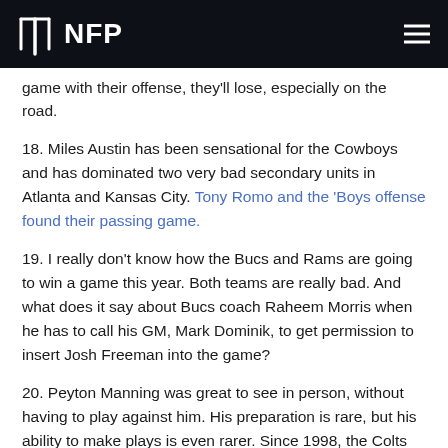NFP
game with their offense, they'll lose, especially on the road.
18. Miles Austin has been sensational for the Cowboys and has dominated two very bad secondary units in Atlanta and Kansas City. Tony Romo and the 'Boys offense found their passing game.
19. I really don't know how the Bucs and Rams are going to win a game this year. Both teams are really bad. And what does it say about Bucs coach Raheem Morris when he has to call his GM, Mark Dominik, to get permission to insert Josh Freeman into the game?
20. Peyton Manning was great to see in person, without having to play against him. His preparation is rare, but his ability to make plays is even rarer. Since 1998, the Colts